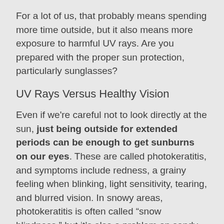For a lot of us, that probably means spending more time outside, but it also means more exposure to harmful UV rays. Are you prepared with the proper sun protection, particularly sunglasses?
UV Rays Versus Healthy Vision
Even if we're careful not to look directly at the sun, just being outside for extended periods can be enough to get sunburns on our eyes. These are called photokeratitis, and symptoms include redness, a grainy feeling when blinking, light sensitivity, tearing, and blurred vision. In snowy areas, photokeratitis is often called “snow blindness,” but it’s also a problem on sandy beaches in the summer.
Longterm, UV exposure can have cumulative effects on our vision, including increasing the risk of developing sight-threatening conditions like macular degeneration and cataracts. We also become more vulnerable to